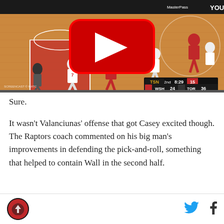[Figure (screenshot): YouTube video thumbnail of an NBA basketball game between Washington Wizards and Toronto Raptors. Score shows WSH 24, TOR 36 in the 2nd quarter with 8:29 remaining. TSN broadcast. YouTube play button overlay visible.]
Sure.
It wasn't Valanciunas' offense that got Casey excited though. The Raptors coach commented on his big man's improvements in defending the pick-and-roll, something that helped to contain Wall in the second half.
[Figure (logo): Raptors Republic logo - circular red/black emblem with raptor silhouette]
[Figure (illustration): Twitter bird icon (blue)]
[Figure (illustration): Facebook f icon (dark)]